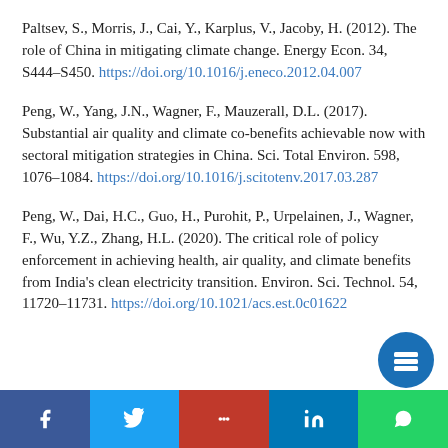Paltsev, S., Morris, J., Cai, Y., Karplus, V., Jacoby, H. (2012). The role of China in mitigating climate change. Energy Econ. 34, S444–S450. https://doi.org/10.1016/j.eneco.2012.04.007
Peng, W., Yang, J.N., Wagner, F., Mauzerall, D.L. (2017). Substantial air quality and climate co-benefits achievable now with sectoral mitigation strategies in China. Sci. Total Environ. 598, 1076–1084. https://doi.org/10.1016/j.scitotenv.2017.03.287
Peng, W., Dai, H.C., Guo, H., Purohit, P., Urpelainen, J., Wagner, F., Wu, Y.Z., Zhang, H.L. (2020). The critical role of policy enforcement in achieving health, air quality, and climate benefits from India's clean electricity transition. Environ. Sci. Technol. 54, 11720–11731. https://doi.org/10.1021/acs.est.0c01622